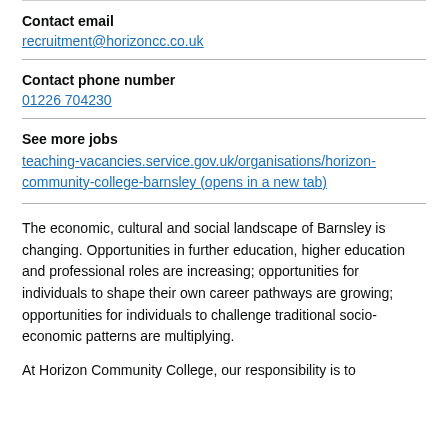Contact email
recruitment@horizoncc.co.uk
Contact phone number
01226 704230
See more jobs
teaching-vacancies.service.gov.uk/organisations/horizon-community-college-barnsley (opens in a new tab)
The economic, cultural and social landscape of Barnsley is changing. Opportunities in further education, higher education and professional roles are increasing; opportunities for individuals to shape their own career pathways are growing; opportunities for individuals to challenge traditional socio-economic patterns are multiplying.
At Horizon Community College, our responsibility is to